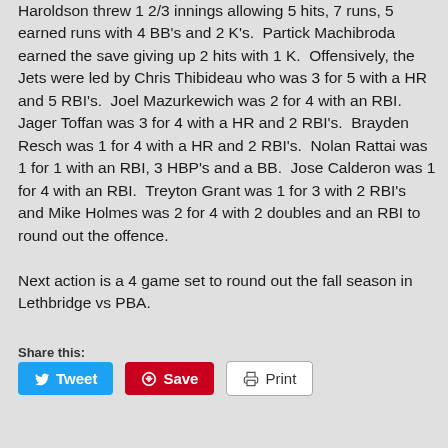Haroldson threw 1 2/3 innings allowing 5 hits, 7 runs, 5 earned runs with 4 BB's and 2 K's. Partick Machibroda earned the save giving up 2 hits with 1 K. Offensively, the Jets were led by Chris Thibideau who was 3 for 5 with a HR and 5 RBI's. Joel Mazurkewich was 2 for 4 with an RBI. Jager Toffan was 3 for 4 with a HR and 2 RBI's. Brayden Resch was 1 for 4 with a HR and 2 RBI's. Nolan Rattai was 1 for 1 with an RBI, 3 HBP's and a BB. Jose Calderon was 1 for 4 with an RBI. Treyton Grant was 1 for 3 with 2 RBI's and Mike Holmes was 2 for 4 with 2 doubles and an RBI to round out the offence.
Next action is a 4 game set to round out the fall season in Lethbridge vs PBA.
Share this: